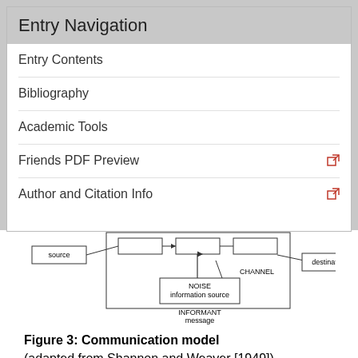Entry Navigation
Entry Contents
Bibliography
Academic Tools
Friends PDF Preview
Author and Citation Info
[Figure (schematic): Communication model diagram showing source, channel, destination, noise/information source, and informant/message components with arrows]
Figure 3: Communication model (adapted from Shannon and Weaver [1949])
MTC is concerned with the efficient use of the resources indicated in Figure 3. Now, the conversation with the mechanic is fairly realistic and hence more difficult to model than a simplified case. We shall return to it later.